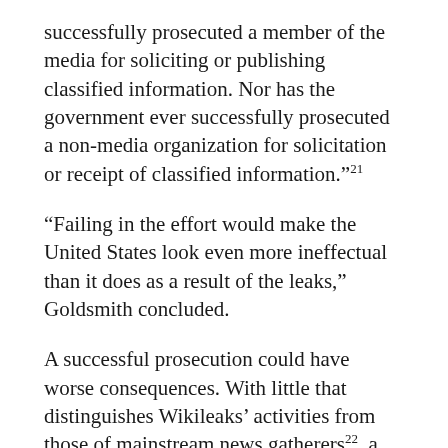successfully prosecuted a member of the media for soliciting or publishing classified information. Nor has the government ever successfully prosecuted a non-media organization for solicitation or receipt of classified information."21
"Failing in the effort would make the United States look even more ineffectual than it does as a result of the leaks," Goldsmith concluded.
A successful prosecution could have worse consequences. With little that distinguishes Wikileaks' activities from those of mainstream news gatherers22, a dangerous legal precedent would be established. Journalists employed by major newspapers that also published